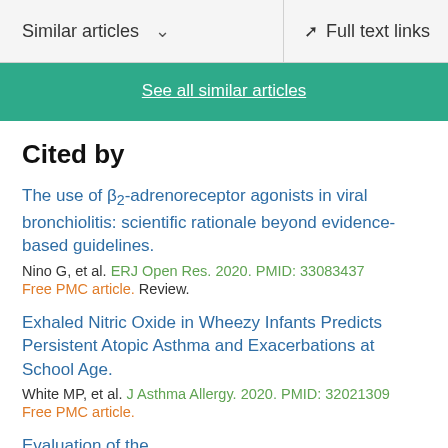Similar articles   ∨        Full text links
See all similar articles
Cited by
The use of β2-adrenoreceptor agonists in viral bronchiolitis: scientific rationale beyond evidence-based guidelines.
Nino G, et al. ERJ Open Res. 2020. PMID: 33083437
Free PMC article. Review.
Exhaled Nitric Oxide in Wheezy Infants Predicts Persistent Atopic Asthma and Exacerbations at School Age.
White MP, et al. J Asthma Allergy. 2020. PMID: 32021309
Free PMC article.
Evaluation of the...